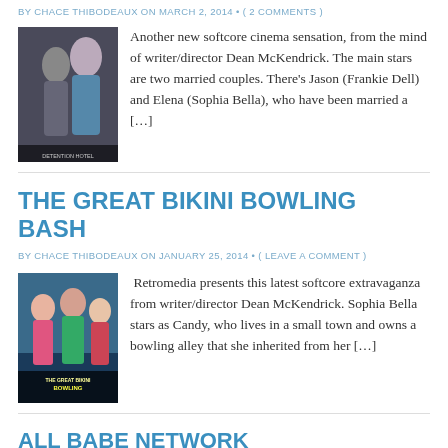BY CHACE THIBODEAUX ON MARCH 2, 2014 • ( 2 COMMENTS )
[Figure (photo): Movie poster for a softcore film showing two women in evening wear]
Another new softcore cinema sensation, from the mind of writer/director Dean McKendrick. The main stars are two married couples. There's Jason (Frankie Dell) and Elena (Sophia Bella), who have been married a [...]
THE GREAT BIKINI BOWLING BASH
BY CHACE THIBODEAUX ON JANUARY 25, 2014 • ( LEAVE A COMMENT )
[Figure (photo): Movie poster for The Great Bikini Bowling showing women in bikinis with bowling alley background]
Retromedia presents this latest softcore extravaganza from writer/director Dean McKendrick. Sophia Bella stars as Candy, who lives in a small town and owns a bowling alley that she inherited from her [...]
ALL BABE NETWORK
BY CHACE THIBODEAUX ON DECEMBER 26, 2013 • ( 1 COMMENT )